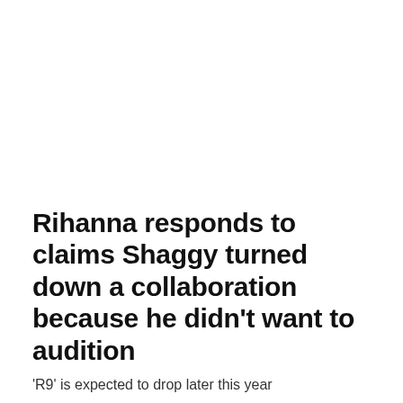Rihanna responds to claims Shaggy turned down a collaboration because he didn't want to audition
'R9' is expected to drop later this year